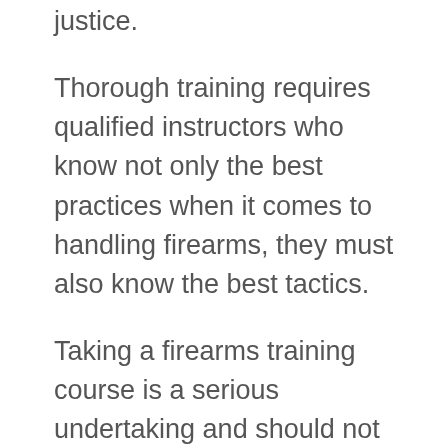justice.
Thorough training requires qualified instructors who know not only the best practices when it comes to handling firearms, they must also know the best tactics.
Taking a firearms training course is a serious undertaking and should not be taken lightly. Being attentive to your instructor is just as much important as knowing your abilities, and the abilities of your firearm.